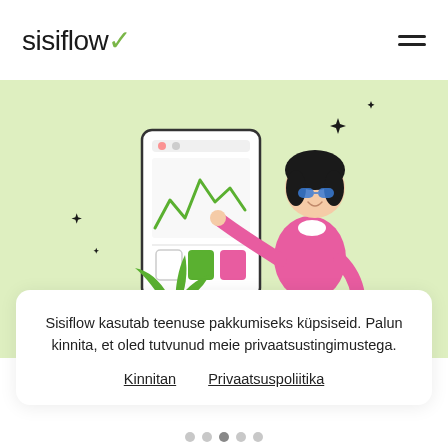sisiflow
[Figure (illustration): Illustration of a person sitting on a stool, pointing at a mobile phone/tablet screen showing a line chart and colored blocks. A plant in blue pot is in the foreground. Background is light green. Decorative sparkle/star shapes around the figure.]
Sisiflow kasutab teenuse pakkumiseks küpsiseid. Palun kinnita, et oled tutvunud meie privaatsustingimustega.
Kinnitan   Privaatsuspoliitika